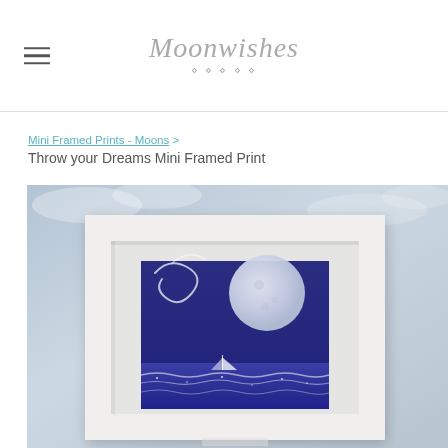Moonwishes
Mini Framed Prints - Moons > Throw your Dreams Mini Framed Print
[Figure (photo): A white mini framed print displayed against a soft cloudy sky background. The frame contains a small artwork showing a nautical night scene with a large full moon, swirling wind lines, a sailboat on the sea, and sparkling waves on a deep blue/purple background.]